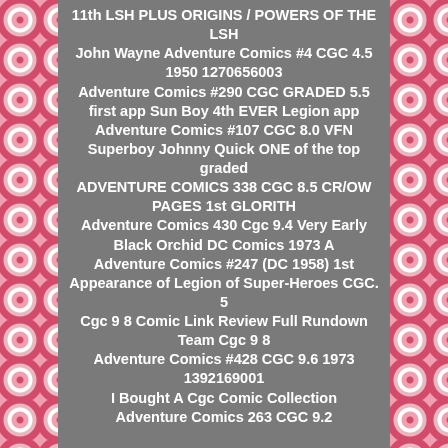11th LSH PLUS ORIGINS / POWERS OF THE LSH
John Wayne Adventure Comics #4 CGC 4.5 1950 1270656003
Adventure Comics #290 CGC GRADED 5.5 first app Sun Boy 4th EVER Legion app
Adventure Comics #107 CGC 8.0 VFN Superboy Johnny Quick ONE of the top graded
ADVENTURE COMICS 338 CGC 8.5 CR/OW PAGES 1st GLORITH
Adventure Comics 430 Cgc 9.4 Very Early Black Orchid DC Comics 1973 A
Adventure Comics #247 (DC 1958) 1st Appearance of Legion of Super-Heroes CGC. 5
Cgc 9 8 Comic Link Review Full Rundown Team Cgc 9 8
Adventure Comics #428 CGC 9.6 1973 1392169001
I Bought A Cgc Comic Collection
Adventure Comics 263 CGC 9.2